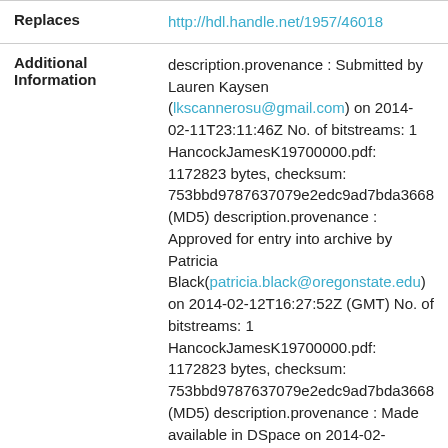| Field | Value |
| --- | --- |
| Replaces | http://hdl.handle.net/1957/46018 |
| Additional Information | description.provenance : Submitted by Lauren Kaysen (lkscannerosu@gmail.com) on 2014-02-11T23:11:46Z No. of bitstreams: 1 HancockJamesK19700000.pdf: 1172823 bytes, checksum: 753bbd9787637079e2edc9ad7bda3668 (MD5) description.provenance : Approved for entry into archive by Patricia Black(patricia.black@oregonstate.edu) on 2014-02-12T16:27:52Z (GMT) No. of bitstreams: 1 HancockJamesK19700000.pdf: 1172823 bytes, checksum: 753bbd9787637079e2edc9ad7bda3668 (MD5) description.provenance : Made available in DSpace on 2014-02-20T19:42:25Z (GMT). No. of bitstreams: 1 |